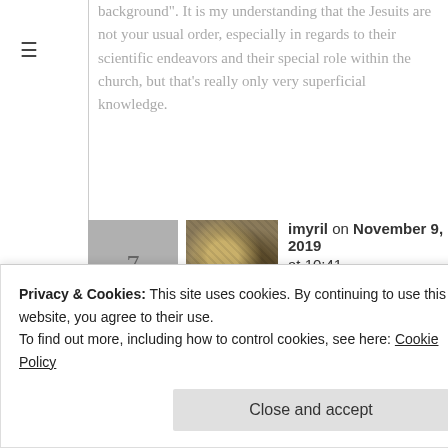background". It is my understanding that the Jesuits are not your usual order, especially in regards to their scientific endeavors and their special role within the church, but that's really only very superficial knowledge.
imyril on November 9, 2019 at 10:41 am Reply Like
That's fair too – I honestly can't remember how much
Privacy & Cookies: This site uses cookies. By continuing to use this website, you agree to their use. To find out more, including how to control cookies, see here: Cookie Policy
Close and accept